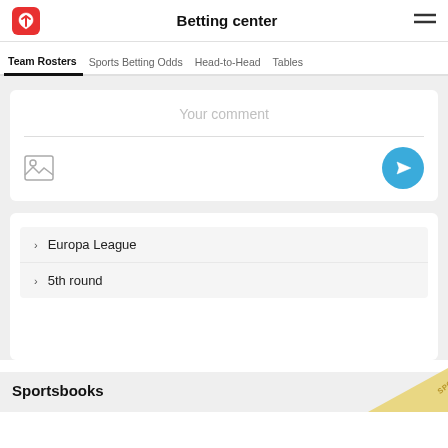Betting center
Team Rosters | Sports Betting Odds | Head-to-Head | Tables
Your comment
Europa League
5th round
Sportsbooks